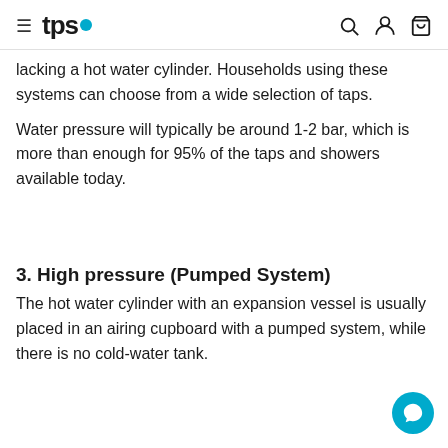tps
lacking a hot water cylinder. Households using these systems can choose from a wide selection of taps.
Water pressure will typically be around 1-2 bar, which is more than enough for 95% of the taps and showers available today.
3. High pressure (Pumped System)
The hot water cylinder with an expansion vessel is usually placed in an airing cupboard with a pumped system, while there is no cold-water tank.